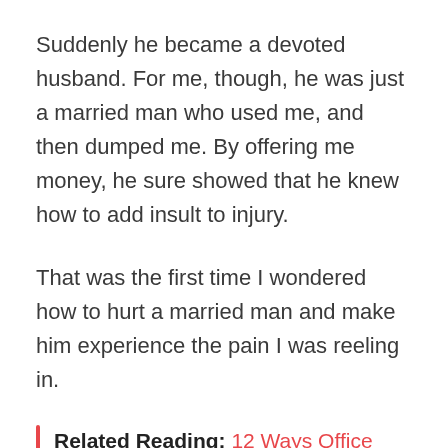Suddenly he became a devoted husband. For me, though, he was just a married man who used me, and then dumped me. By offering me money, he sure showed that he knew how to add insult to injury.
That was the first time I wondered how to hurt a married man and make him experience the pain I was reeling in.
Related Reading: 12 Ways Office Affairs Can Spell Trouble For You